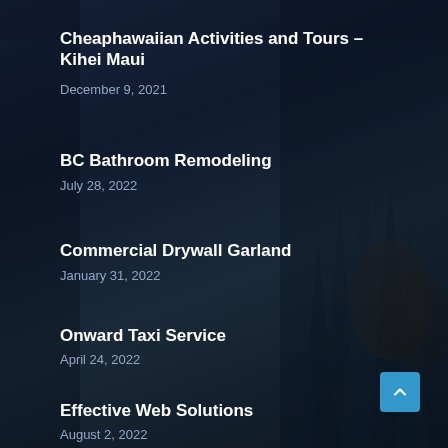Cheaphawaiian Activities and Tours – Kihei Maui
December 9, 2021
BC Bathroom Remodeling
July 28, 2022
Commercial Drywall Garland
January 31, 2022
Onward Taxi Service
April 24, 2022
Effective Web Solutions
August 2, 2022